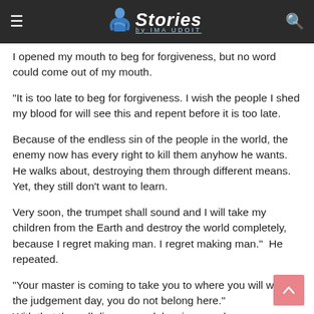Stories by IMA UDOIT
I opened my mouth to beg for forgiveness, but no word could come out of my mouth.
"It is too late to beg for forgiveness. I wish the people I shed my blood for will see this and repent before it is too late.
Because of the endless sin of the people in the world, the enemy now has every right to kill them anyhow he wants. He walks about, destroying them through different means. Yet, they still don't want to learn.
Very soon, the trumpet shall sound and I will take my children from the Earth and destroy the world completely, because I regret making man. I regret making man."  He repeated.
"Your master is coming to take you to where you will wait for the judgement day, you do not belong here."
With that they all disappeared, leaving me alone.